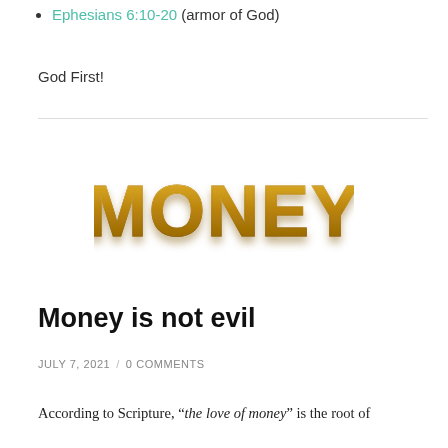Ephesians 6:10-20 (armor of God)
God First!
[Figure (illustration): 3D gold metallic word 'MONEY' rendered in capital block letters with a reflective golden surface and shadow beneath.]
Money is not evil
JULY 7, 2021  /  0 COMMENTS
According to Scripture, “the love of money” is the root of